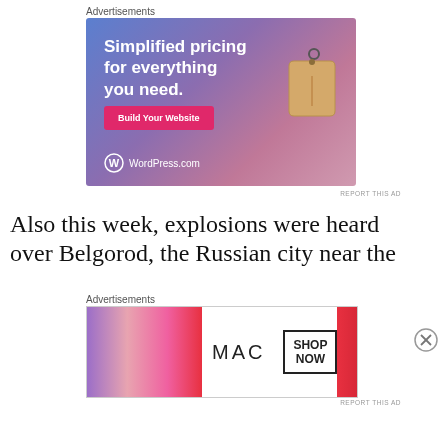Advertisements
[Figure (screenshot): WordPress.com advertisement banner with gradient blue-pink background, text 'Simplified pricing for everything you need.', a pink 'Build Your Website' button, a price tag illustration, and WordPress.com logo at bottom left.]
REPORT THIS AD
Also this week, explosions were heard over Belgorod, the Russian city near the
Advertisements
[Figure (screenshot): MAC cosmetics advertisement banner showing lipsticks on left, MAC logo in center, and a 'SHOP NOW' box on right side.]
REPORT THIS AD